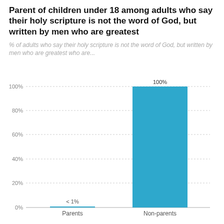Parent of children under 18 among adults who say their holy scripture is not the word of God, but written by men who are greatest
% of adults who say their holy scripture is not the word of God, but written by men who are greatest who are...
[Figure (bar-chart): ]